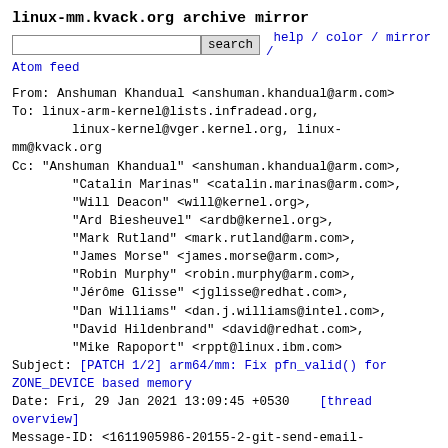linux-mm.kvack.org archive mirror
search   help / color / mirror /
Atom feed
From: Anshuman Khandual <anshuman.khandual@arm.com>
To: linux-arm-kernel@lists.infradead.org,
        linux-kernel@vger.kernel.org, linux-mm@kvack.org
Cc: "Anshuman Khandual" <anshuman.khandual@arm.com>,
        "Catalin Marinas" <catalin.marinas@arm.com>,
        "Will Deacon" <will@kernel.org>,
        "Ard Biesheuvel" <ardb@kernel.org>,
        "Mark Rutland" <mark.rutland@arm.com>,
        "James Morse" <james.morse@arm.com>,
        "Robin Murphy" <robin.murphy@arm.com>,
        "Jérôme Glisse" <jglisse@redhat.com>,
        "Dan Williams" <dan.j.williams@intel.com>,
        "David Hildenbrand" <david@redhat.com>,
        "Mike Rapoport" <rppt@linux.ibm.com>
Subject: [PATCH 1/2] arm64/mm: Fix pfn_valid() for ZONE_DEVICE based memory
Date: Fri, 29 Jan 2021 13:09:45 +0530    [thread overview]
Message-ID: <1611905986-20155-2-git-send-email-anshuman.khandual@arm.com> (raw)
In-Reply-To: <1611905986-20155-1-git-send-email-anshuman.khandual@arm.com>
pfn_valid() validates a pfn but basically it checks for